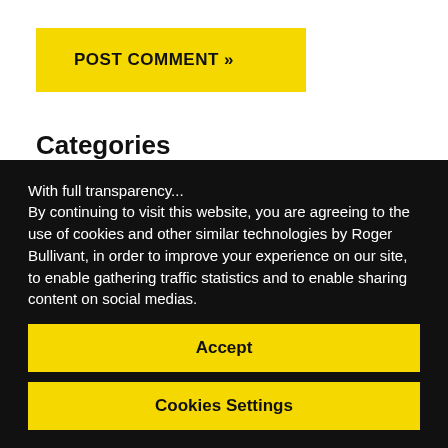POST COMMENT »
Categories
News & People
With full transparency...
By continuing to visit this website, you are agreeing to the use of cookies and other similar technologies by Roger Bullivant, in order to improve your experience on our site, to enable gathering traffic statistics and to enable sharing content on social medias.
Accept
Cookies Settings